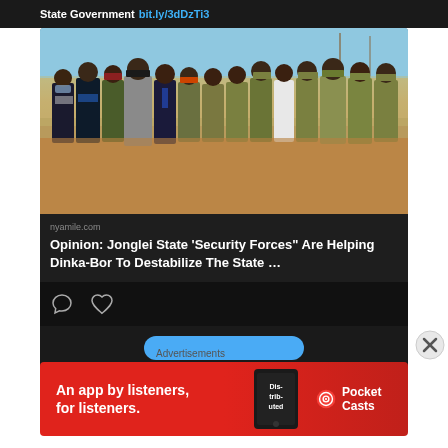State Government bit.ly/3dDzTi3
[Figure (photo): Group of officials and military/security personnel standing outdoors on red dirt ground, some wearing civilian suits, military fatigues, and olive/khaki uniforms; some wearing face masks]
nyamile.com
Opinion: Jonglei State 'Security Forces" Are Helping Dinka-Bor To Destabilize The State ...
[Figure (screenshot): Pocket Casts advertisement banner: red background, text reads 'An app by listeners, for listeners.' with Pocket Casts logo and a phone showing 'Distributed' podcast app]
Advertisements